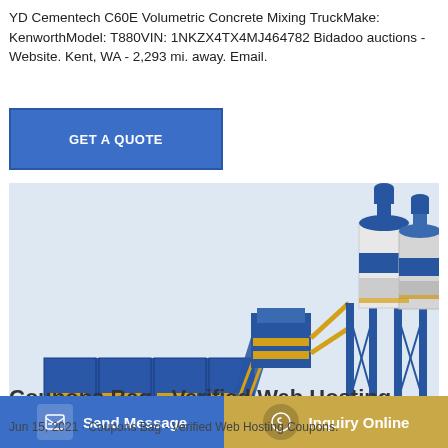YD Cementech C60E Volumetric Concrete Mixing TruckMake: KenworthModel: T880VIN: 1NKZX4TX4MJ464782 Bidadoo auctions - Website. Kent, WA - 2,293 mi. away. Email.
[Figure (other): Blue button with white text reading GET A QUOTE]
[Figure (illustration): Industrial concrete batching plant / concrete mixing equipment rendered in blue and yellow colors, showing silos, conveyor belt, and mixing unit on a light blue-gray background.]
Coupons Bag - Verified Web Hosting
[Figure (other): Bottom action bar with two buttons: 'Send Message' (blue, left) and 'Inquiry Online' (gold/tan, right)]
Jun 15, 2021 · Coupons Bag - Verified Web Hosting Coupons.